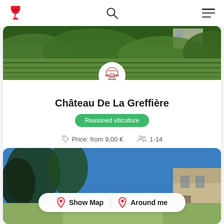Château De La Greffière - wine tourism app navigation bar
[Figure (screenshot): Vineyard landscape photo showing green vines with white building visible, used as card header image]
Château De La Greffière
Reasoned viticulture
Price: from 9,00 €  1-14
[Figure (photo): Outdoor photo of château building with blue sky and trees, with Show Map and Around me buttons overlay]